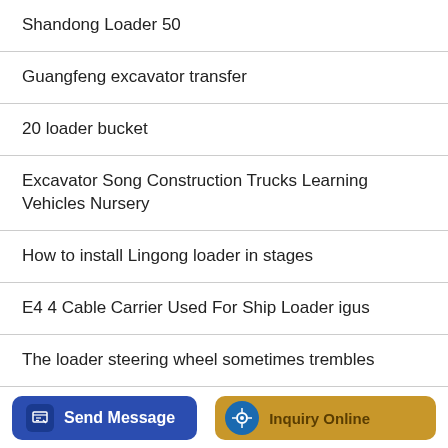Shandong Loader 50
Guangfeng excavator transfer
20 loader bucket
Excavator Song Construction Trucks Learning Vehicles Nursery
How to install Lingong loader in stages
E4 4 Cable Carrier Used For Ship Loader igus
The loader steering wheel sometimes trembles
Offer 2 Ton Wheel Loader Compact Wheel Loader
Send Message  Inquiry Online  BACKHOE FOR SALE - PHILIPPINES